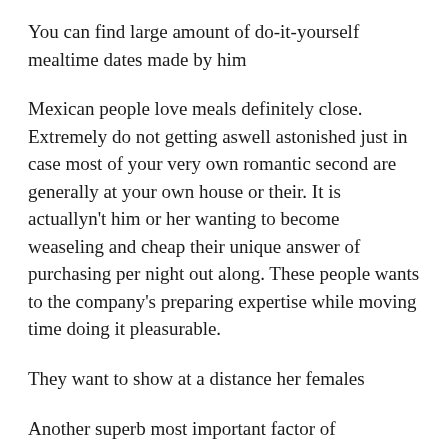You can find large amount of do-it-yourself mealtime dates made by him
Mexican people love meals definitely close. Extremely do not getting aswell astonished just in case most of your very own romantic second are generally at your own house or their. It is actuallyn't him or her wanting to become weaseling and cheap their unique answer of purchasing per night out along. These people wants to the company's preparing expertise while moving time doing it pleasurable.
They want to show at a distance her females
Another superb most important factor of matchmaking North american land males is basically that you will be handled similar to a king that is definitely real. He will would